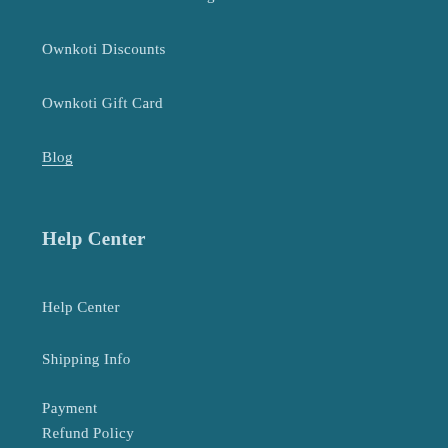Ownkoti Ambassador Program
Ownkoti Discounts
Ownkoti Gift Card
Blog
Help Center
Help Center
Shipping Info
Payment
Refund Policy